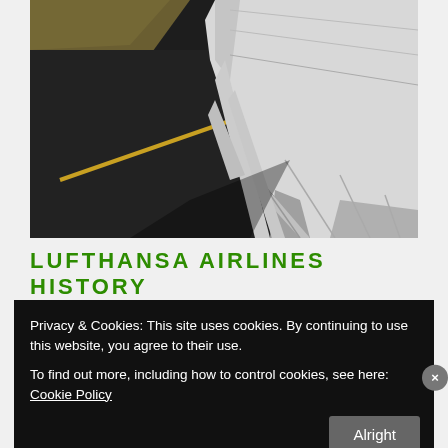[Figure (photo): View from airplane window showing the aircraft wing with flaps extended, over an airport tarmac/runway with a yellow center line. Brown dried grass is visible in the upper left corner. The scene shows the wing from a low angle against the dark asphalt runway.]
LUFTHANSA AIRLINES HISTORY
Privacy & Cookies: This site uses cookies. By continuing to use this website, you agree to their use. To find out more, including how to control cookies, see here: Cookie Policy